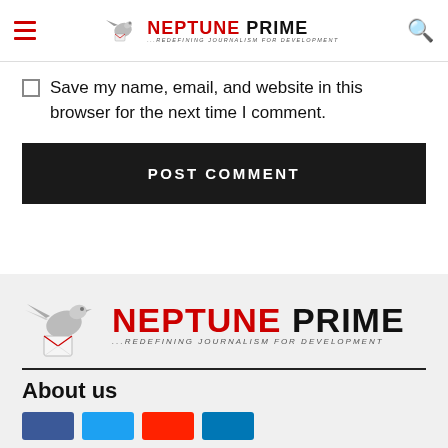Neptune Prime — Redefining Journalism for Development
Save my name, email, and website in this browser for the next time I comment.
POST COMMENT
[Figure (logo): Neptune Prime logo with dove holding envelope, tagline: ...REDEFINING JOURNALISM FOR DEVELOPMENT]
About us